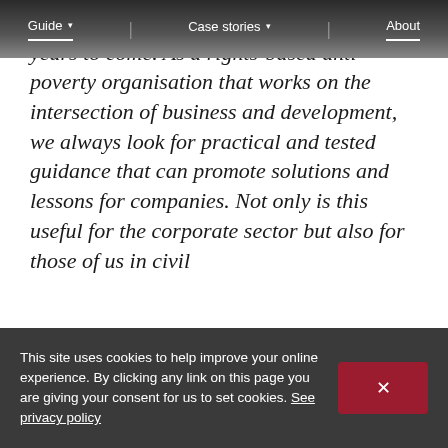Guide ▾  |  Case stories ▾  |  About
tangible tool that will be beneficial for years to come. As a rights-based anti-poverty organisation that works on the intersection of business and development, we always look for practical and tested guidance that can promote solutions and lessons for companies. Not only is this useful for the corporate sector but also for those of us in civil
This site uses cookies to help improve your online experience. By clicking any link on this page you are giving your consent for us to set cookies. See privacy policy